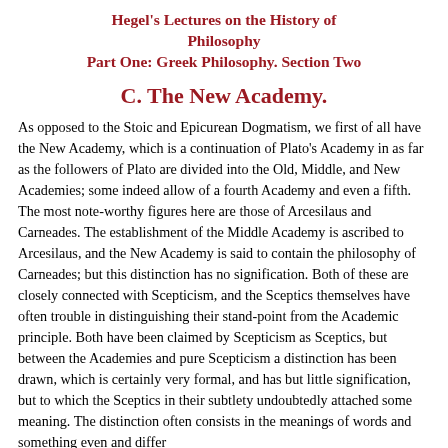Hegel's Lectures on the History of Philosophy Part One: Greek Philosophy. Section Two
C. The New Academy.
As opposed to the Stoic and Epicurean Dogmatism, we first of all have the New Academy, which is a continuation of Plato's Academy in as far as the followers of Plato are divided into the Old, Middle, and New Academies; some indeed allow of a fourth Academy and even a fifth. The most note-worthy figures here are those of Arcesilaus and Carneades. The establishment of the Middle Academy is ascribed to Arcesilaus, and the New Academy is said to contain the philosophy of Carneades; but this distinction has no signification. Both of these are closely connected with Scepticism, and the Sceptics themselves have often trouble in distinguishing their stand-point from the Academic principle. Both have been claimed by Scepticism as Sceptics, but between the Academies and pure Scepticism a distinction has been drawn, which is certainly very formal, and has but little signification, but to which the Sceptics in their subtlety undoubtedly attached some meaning. The distinction often consists in the meanings of words and something even and differ...